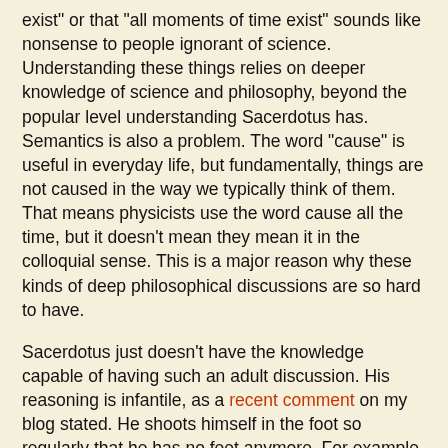exist" or that "all moments of time exist" sounds like nonsense to people ignorant of science. Understanding these things relies on deeper knowledge of science and philosophy, beyond the popular level understanding Sacerdotus has. Semantics is also a problem. The word "cause" is useful in everyday life, but fundamentally, things are not caused in the way we typically think of them. That means physicists use the word cause all the time, but it doesn't mean they mean it in the colloquial sense. This is a major reason why these kinds of deep philosophical discussions are so hard to have.
Sacerdotus just doesn't have the knowledge capable of having such an adult discussion. His reasoning is infantile, as a recent comment on my blog stated. He shoots himself in the foot so regularly that he has no feet anymore. For example, the claim that there is no suffering because it's a social construct is itself a social construct, which negates the claim. No one with a degree in philosophy could make such an elementary mistake. I will debate him anytime on any platform, but I will not agree to his ridiculous rules. He cannot have the sole rights to the material. I get to